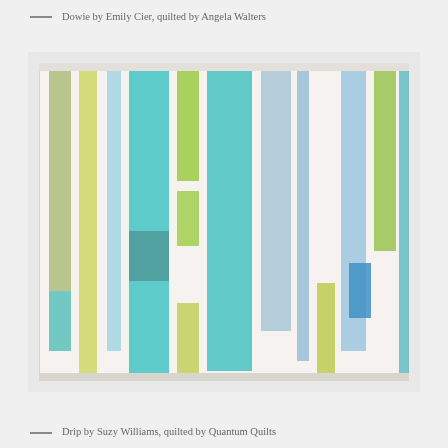— Dowie by Emily Cier, quilted by Angela Walters
[Figure (photo): A modern quilt called 'Drip' featuring vertical rectangular strips in teal, aqua, turquoise, lime green, sage green, blue, and gray on a white background. The strips vary in height and width, creating a dynamic composition.]
— Drip by Suzy Williams, quilted by Quantum Quilts